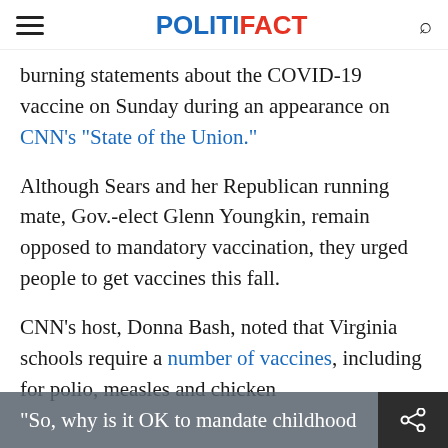POLITIFACT
burning statements about the COVID-19 vaccine on Sunday during an appearance on CNN's "State of the Union."
Although Sears and her Republican running mate, Gov.-elect Glenn Youngkin, remain opposed to mandatory vaccination, they urged people to get vaccines this fall.
CNN's host, Donna Bash, noted that Virginia schools require a number of vaccines, including for polio, measles and chickenpox. "So, why is it OK to mandate childhood